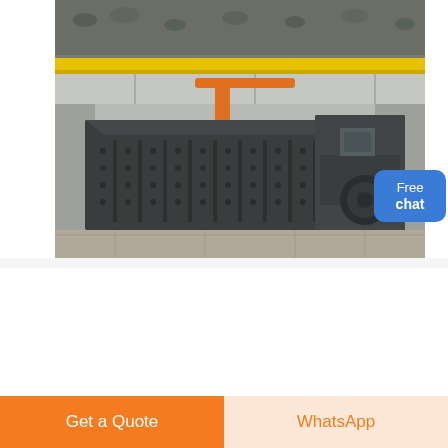[Figure (photo): Industrial factory floor showing a large dark grey heavy machinery/mill crusher unit with bolted panels, conveyor components, and industrial crane beams overhead. Yellow structural beam visible in upper section.]
R70 Maize Mill 2 to 4 Ton per Hour | Roff Mills
The plant can be set up at 50 tons and
Get a Quote
WhatsApp